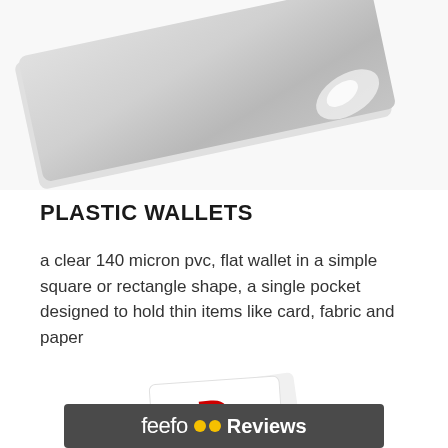[Figure (photo): A clear plastic wallet/sleeve photographed at an angle showing its transparent PVC material with a slight reflection/glare on the surface, against a white background.]
PLASTIC WALLETS
a clear 140 micron pvc, flat wallet in a simple square or rectangle shape, a single pocket designed to hold thin items like card, fabric and paper
[Figure (photo): Partially visible image of what appears to be cards or paper items with red markings, shown at the bottom of the page.]
[Figure (logo): Feefo Reviews logo bar — dark grey rounded rectangle containing the feefo logo with two yellow dot eyes and the word Reviews in white bold text.]